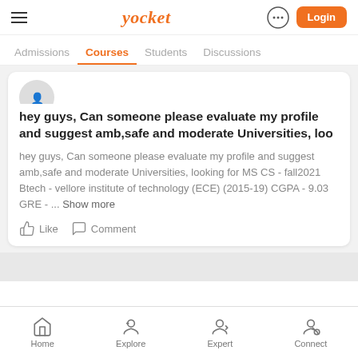Yocket | Login
Admissions | Courses | Students | Discussions
hey guys, Can someone please evaluate my profile and suggest amb,safe and moderate Universities, loo
hey guys, Can someone please evaluate my profile and suggest amb,safe and moderate Universities, looking for MS CS - fall2021 Btech - vellore institute of technology (ECE) (2015-19) CGPA - 9.03 GRE - ... Show more
Like   Comment
Home | Explore | Expert | Connect